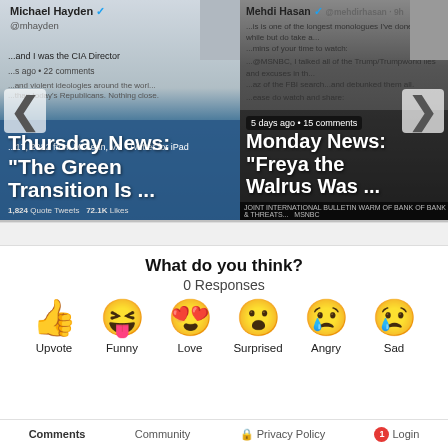[Figure (screenshot): Carousel of news article cards. Left card shows a tweet by Michael Hayden with headline 'Thursday News: The Green Transition Is ...' and metadata '22 comments'. Right card shows a tweet by Mehdi Hasan with headline 'Monday News: Freya the Walrus Was ...' and metadata '5 days ago • 15 comments'. Navigation arrows on left and right sides.]
What do you think?
0 Responses
[Figure (infographic): Six reaction emoji buttons in a row: Upvote (thumbs up), Funny (laughing face with tongue), Love (heart eyes), Surprised (open mouth), Angry (crying/angry face), Sad (sad face with tear). Each has a label below.]
Comments  Community  Privacy Policy  Login